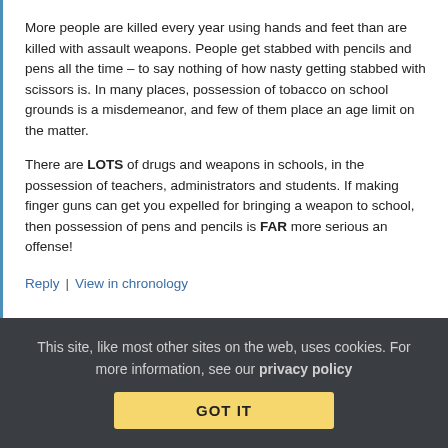More people are killed every year using hands and feet than are killed with assault weapons. People get stabbed with pencils and pens all the time – to say nothing of how nasty getting stabbed with scissors is. In many places, possession of tobacco on school grounds is a misdemeanor, and few of them place an age limit on the matter.
There are LOTS of drugs and weapons in schools, in the possession of teachers, administrators and students. If making finger guns can get you expelled for bringing a weapon to school, then possession of pens and pencils is FAR more serious an offense!
Reply | View in chronology
This site, like most other sites on the web, uses cookies. For more information, see our privacy policy
GOT IT